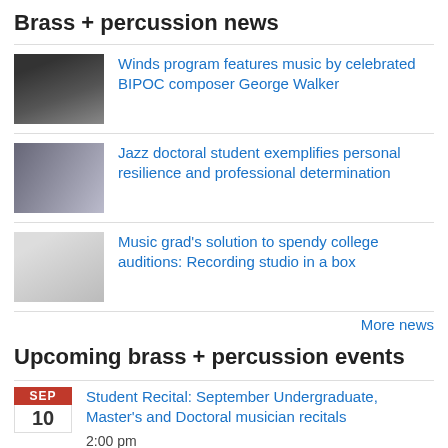Brass + percussion news
Winds program features music by celebrated BIPOC composer George Walker
Jazz doctoral student exemplifies personal resilience and professional determination
Music grad's solution to spendy college auditions: Recording studio in a box
More news
Upcoming brass + percussion events
Student Recital: September Undergraduate, Master's and Doctoral musician recitals
2:00 pm
Faculty Tuesdays: A Collaborative Variety Hour—